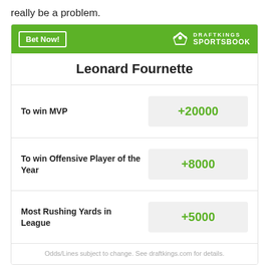really be a problem.
| Bet | Odds |
| --- | --- |
| To win MVP | +20000 |
| To win Offensive Player of the Year | +8000 |
| Most Rushing Yards in League | +5000 |
Odds/Lines subject to change. See draftkings.com for details.